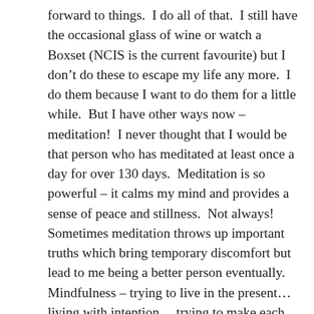forward to things.  I do all of that.  I still have the occasional glass of wine or watch a Boxset (NCIS is the current favourite) but I don't do these to escape my life any more.  I do them because I want to do them for a little while.  But I have other ways now – meditation!  I never thought that I would be that person who has meditated at least once a day for over 130 days.  Meditation is so powerful – it calms my mind and provides a sense of peace and stillness.  Not always!  Sometimes meditation throws up important truths which bring temporary discomfort but lead to me being a better person eventually.  Mindfulness – trying to live in the present…  living with intention… trying to make each moment count.  This has led me back to doing some of the things I used to love to do but haven't been able to concentrate on or have the energy for (reading, sewing, embroidery….).